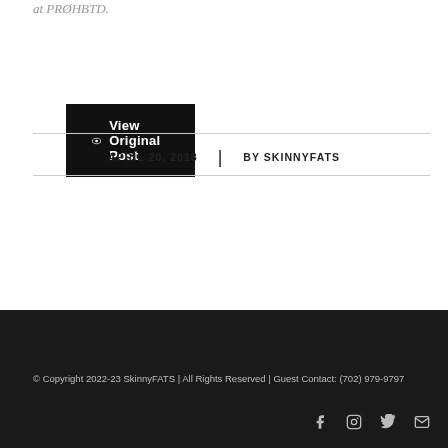at PRØHBTD.
View Original Post
APRIL 20, 2018 | BY SKINNYFATS
© Copyright 2022-23 SkinnyFATS | All Rights Reserved | Guest Contact: (702) 979-9797